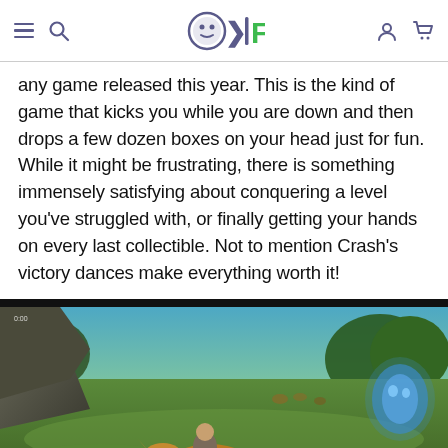OKF gaming website header with navigation icons
any game released this year. This is the kind of game that kicks you while you are down and then drops a few dozen boxes on your head just for fun. While it might be frustrating, there is something immensely satisfying about conquering a level you've struggled with, or finally getting your hands on every last collectible. Not to mention Crash's victory dances make everything worth it!
[Figure (photo): Screenshot from a video game showing a character riding a large animal (horse or bear) through a lush green outdoor environment with trees and rocky terrain. A blue glowing creature or element visible on the right side.]